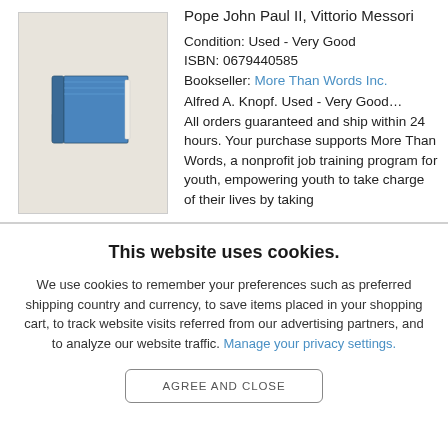[Figure (illustration): Book cover icon showing a blue hardcover book with white pages, illustrated in a simple graphic style, on a beige/tan background.]
Pope John Paul II, Vittorio Messori
Condition: Used - Very Good
ISBN: 0679440585
Bookseller: More Than Words Inc.
Alfred A. Knopf. Used - Very Good... All orders guaranteed and ship within 24 hours. Your purchase supports More Than Words, a nonprofit job training program for youth, empowering youth to take charge of their lives by taking
This website uses cookies.
We use cookies to remember your preferences such as preferred shipping country and currency, to save items placed in your shopping cart, to track website visits referred from our advertising partners, and to analyze our website traffic. Manage your privacy settings.
AGREE AND CLOSE